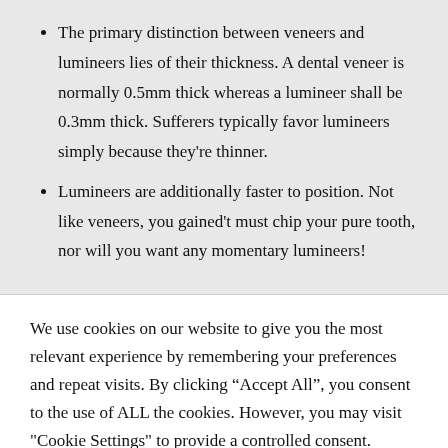The primary distinction between veneers and lumineers lies of their thickness. A dental veneer is normally 0.5mm thick whereas a lumineer shall be 0.3mm thick. Sufferers typically favor lumineers simply because they're thinner.
Lumineers are additionally faster to position. Not like veneers, you gained't must chip your pure tooth, nor will you want any momentary lumineers!
We use cookies on our website to give you the most relevant experience by remembering your preferences and repeat visits. By clicking "Accept All", you consent to the use of ALL the cookies. However, you may visit "Cookie Settings" to provide a controlled consent.